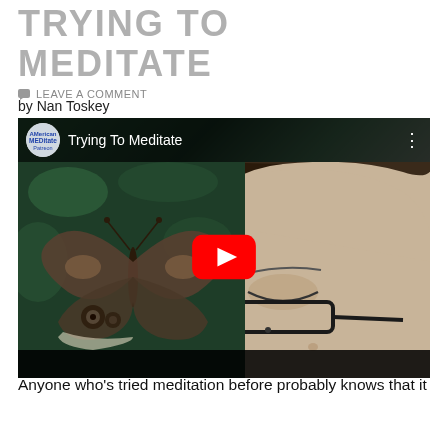TRYING TO MEDITATE
LEAVE A COMMENT
by Nan Toskey
[Figure (screenshot): YouTube video thumbnail showing a butterfly perched near a person's face with glasses. The video is titled 'Trying To Meditate' with a red YouTube play button in the center. A channel icon appears in the top-left corner.]
Anyone who's tried meditation before probably knows that it